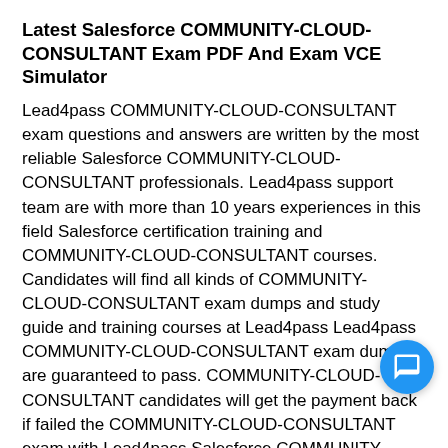Latest Salesforce COMMUNITY-CLOUD-CONSULTANT Exam PDF And Exam VCE Simulator
Lead4pass COMMUNITY-CLOUD-CONSULTANT exam questions and answers are written by the most reliable Salesforce COMMUNITY-CLOUD-CONSULTANT professionals. Lead4pass support team are with more than 10 years experiences in this field Salesforce certification training and COMMUNITY-CLOUD-CONSULTANT courses. Candidates will find all kinds of COMMUNITY-CLOUD-CONSULTANT exam dumps and study guide and training courses at Lead4pass Lead4pass COMMUNITY-CLOUD-CONSULTANT exam dumps are guaranteed to pass. COMMUNITY-CLOUD-CONSULTANT candidates will get the payment back if failed the COMMUNITY-CLOUD-CONSULTANT exam with Lead4pass Salesforce COMMUNITY-CLOUD-CONSULTANT exam PDF and ex VCE. Supports are provided to Lead4pass COMMUN CLOUD-CONSULTANT exam candidates at any time w required. If COMMUNITY-CLOUD-CONSULTANT candidates